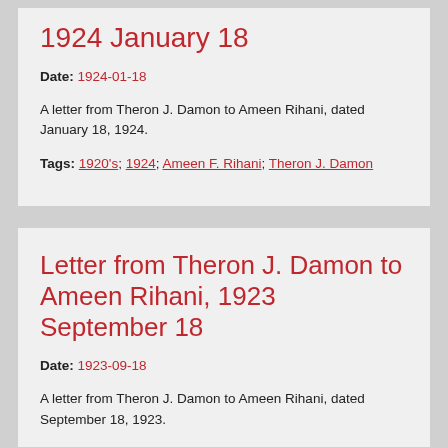1924 January 18
Date: 1924-01-18
A letter from Theron J. Damon to Ameen Rihani, dated January 18, 1924.
Tags: 1920's; 1924; Ameen F. Rihani; Theron J. Damon
Letter from Theron J. Damon to Ameen Rihani, 1923 September 18
Date: 1923-09-18
A letter from Theron J. Damon to Ameen Rihani, dated September 18, 1923.